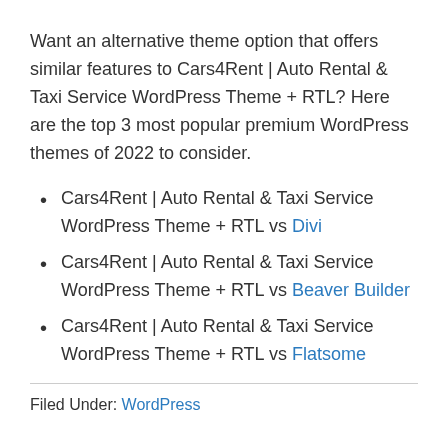Want an alternative theme option that offers similar features to Cars4Rent | Auto Rental & Taxi Service WordPress Theme + RTL? Here are the top 3 most popular premium WordPress themes of 2022 to consider.
Cars4Rent | Auto Rental & Taxi Service WordPress Theme + RTL vs Divi
Cars4Rent | Auto Rental & Taxi Service WordPress Theme + RTL vs Beaver Builder
Cars4Rent | Auto Rental & Taxi Service WordPress Theme + RTL vs Flatsome
Filed Under: WordPress